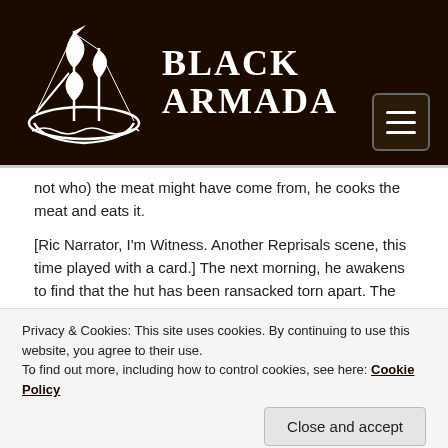[Figure (logo): Black Armada logo: white ship illustration and bold WHITE text 'BLACK ARMADA' on black background, with hamburger menu button in bottom right]
not who) the meat might have come from, he cooks the meat and eats it.

[Ric Narrator, I'm Witness. Another Reprisals scene, this time played with a card.] The next morning, he awakens to find that the hut has been ransacked torn apart. The
Privacy & Cookies: This site uses cookies. By continuing to use this website, you agree to their use.
To find out more, including how to control cookies, see here: Cookie Policy
Close and accept
Sir Arthur finds that there's a trail heading away from the